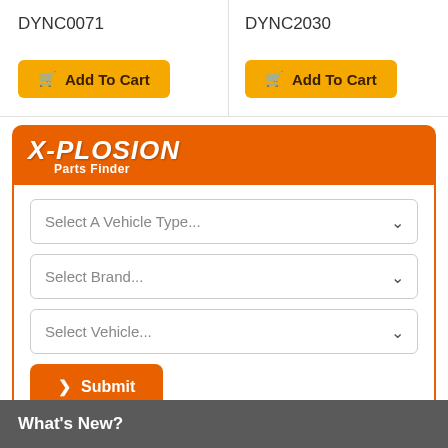DYNC0071
DYNC2030
RCE1
[Figure (screenshot): X-PLOSION Parts Finder widget with orange header logo and three dropdown selects (Select A Vehicle Type, Select Brand, Select Vehicle) and an orange Submit button]
What's New?